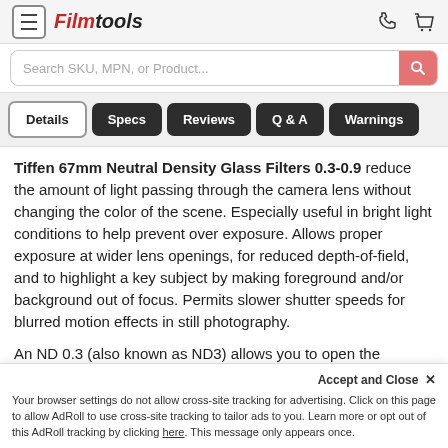Filmtools — navigation header with menu, search bar, phone and cart icons
Details
Specs
Reviews
Q & A
Warnings
Tiffen 67mm Neutral Density Glass Filters 0.3-0.9 reduce the amount of light passing through the camera lens without changing the color of the scene. Especially useful in bright light conditions to help prevent over exposure. Allows proper exposure at wider lens openings, for reduced depth-of-field, and to highlight a key subject by making foreground and/or background out of focus. Permits slower shutter speeds for blurred motion effects in still photography.

An ND 0.3 (also known as ND3) allows you to open the camera aperture one full stop. Or, on motion picture cameras, increase shutter speed by 50%.
Accept and Close ✕
Your browser settings do not allow cross-site tracking for advertising. Click on this page to allow AdRoll to use cross-site tracking to tailor ads to you. Learn more or opt out of this AdRoll tracking by clicking here. This message only appears once.